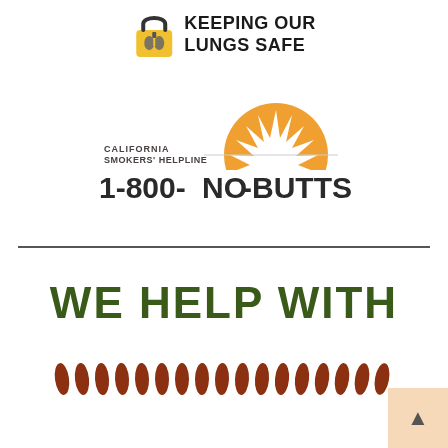[Figure (logo): Keeping Our Lungs Safe logo with a padlock containing lungs illustration]
[Figure (logo): California Smokers' Helpline logo with orange sunburst and text 1-800-NO-BUTTS]
WE HELP WITH
[Figure (illustration): Row of cigarette illustrations in dark red/brown color]